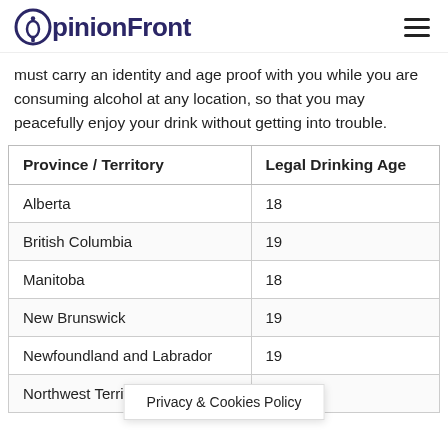OpinionFront
must carry an identity and age proof with you while you are consuming alcohol at any location, so that you may peacefully enjoy your drink without getting into trouble.
| Province / Territory | Legal Drinking Age |
| --- | --- |
| Alberta | 18 |
| British Columbia | 19 |
| Manitoba | 18 |
| New Brunswick | 19 |
| Newfoundland and Labrador | 19 |
| Northwest Territories | 19 |